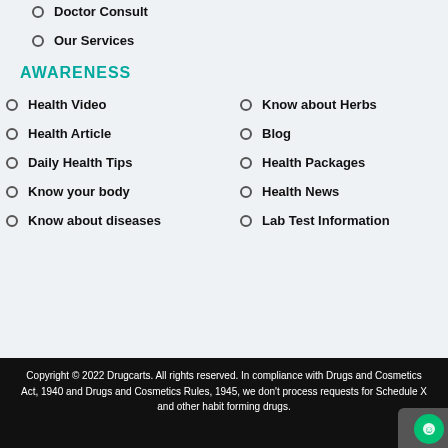Doctor Consult
Our Services
AWARENESS
Health Video
Know about Herbs
Health Article
Blog
Daily Health Tips
Health Packages
Know your body
Health News
Know about diseases
Lab Test Information
Copyright © 2022 Drugcarts. All rights reserved. In compliance with Drugs and Cosmetics Act, 1940 and Drugs and Cosmetics Rules, 1945, we don't process requests for Schedule X and other habit forming drugs.